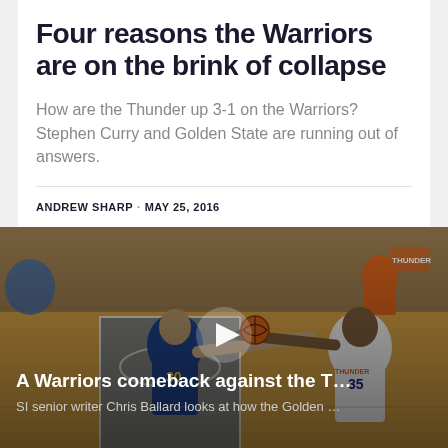Four reasons the Warriors are on the brink of collapse
How are the Thunder up 3-1 on the Warriors? Stephen Curry and Golden State are running out of answers.
ANDREW SHARP · MAY 25, 2016
[Figure (photo): Basketball game photo showing Stephen Curry (#30, Warriors) and Kevin Durant (#35, Thunder) in action on the court, with a video play overlay. Video title: 'A Warriors comeback against the T…' Subtitle: 'SI senior writer Chris Ballard looks at how the Golden …']